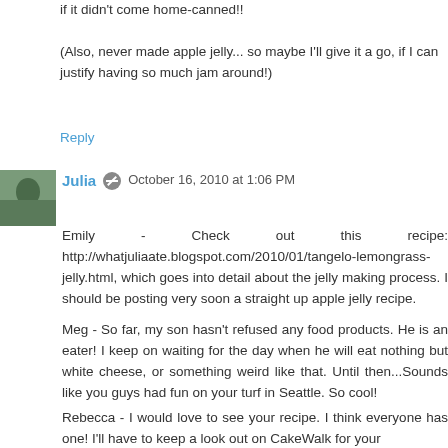if it didn't come home-canned!!
(Also, never made apple jelly... so maybe I'll give it a go, if I can justify having so much jam around!)
Reply
Julia  October 16, 2010 at 1:06 PM
Emily - Check out this recipe: http://whatjuliaate.blogspot.com/2010/01/tangelo-lemongrass-jelly.html, which goes into detail about the jelly making process. I should be posting very soon a straight up apple jelly recipe.
Meg - So far, my son hasn't refused any food products. He is an eater! I keep on waiting for the day when he will eat nothing but white cheese, or something weird like that. Until then...Sounds like you guys had fun on your turf in Seattle. So cool!
Rebecca - I would love to see your recipe. I think everyone has one! I'll have to keep a look out on CakeWalk for your